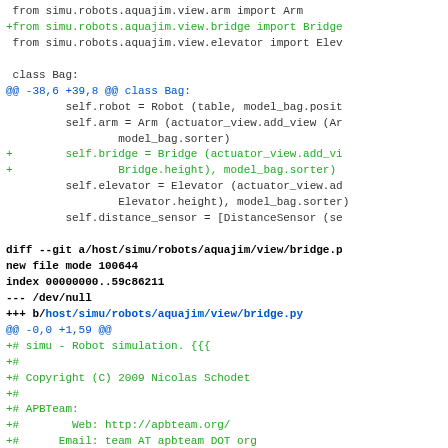Code diff showing changes to simu.robots.aquajim view files, including addition of bridge.py with copyright header for Nicolas Schodet / APBTeam, 2009
[Figure (screenshot): A git diff showing Python source code changes. Lines in black are context, lines beginning with + in green are additions, @@ lines in blue are hunk headers, and bold lines are git diff metadata headers.]